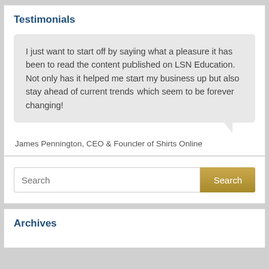Testimonials
I just want to start off by saying what a pleasure it has been to read the content published on LSN Education. Not only has it helped me start my business up but also stay ahead of current trends which seem to be forever changing!
James Pennington, CEO & Founder of Shirts Online
Search
Archives